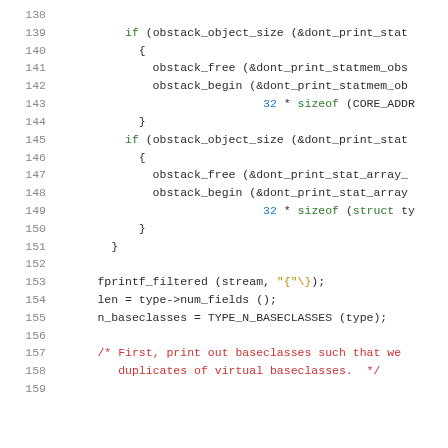Source code listing, lines 138-158, C/C++ code with syntax highlighting